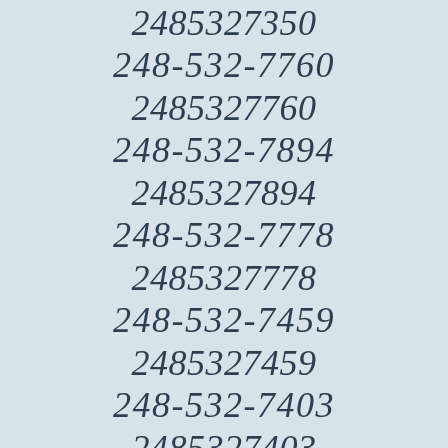2485327350
248-532-7760
2485327760
248-532-7894
2485327894
248-532-7778
2485327778
248-532-7459
2485327459
248-532-7403
2485327403
248-532-7155
2485327155
248-532-7168
2485327168
248-532-7255